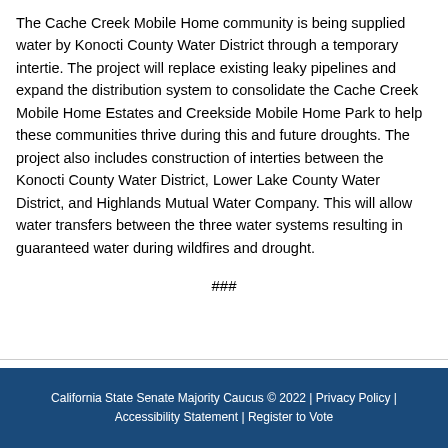The Cache Creek Mobile Home community is being supplied water by Konocti County Water District through a temporary intertie. The project will replace existing leaky pipelines and expand the distribution system to consolidate the Cache Creek Mobile Home Estates and Creekside Mobile Home Park to help these communities thrive during this and future droughts. The project also includes construction of interties between the Konocti County Water District, Lower Lake County Water District, and Highlands Mutual Water Company. This will allow water transfers between the three water systems resulting in guaranteed water during wildfires and drought.
###
California State Senate Majority Caucus © 2022 | Privacy Policy | Accessibility Statement | Register to Vote